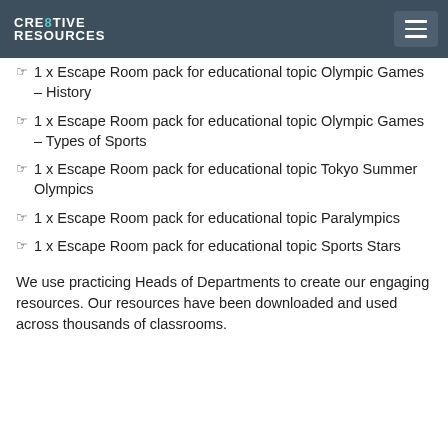CRE8TIVE RESOURCES
1 x Escape Room pack for educational topic Olympic Games – History
1 x Escape Room pack for educational topic Olympic Games – Types of Sports
1 x Escape Room pack for educational topic Tokyo Summer Olympics
1 x Escape Room pack for educational topic Paralympics
1 x Escape Room pack for educational topic Sports Stars
We use practicing Heads of Departments to create our engaging resources. Our resources have been downloaded and used across thousands of classrooms.